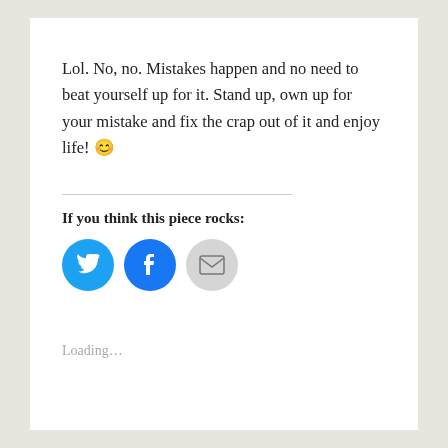Lol. No, no. Mistakes happen and no need to beat yourself up for it. Stand up, own up for your mistake and fix the crap out of it and enjoy life! 😊
If you think this piece rocks:
[Figure (other): Three social sharing icon buttons: Twitter (blue circle with bird icon), Facebook (blue circle with f icon), and Email (gray circle with envelope icon)]
Loading...